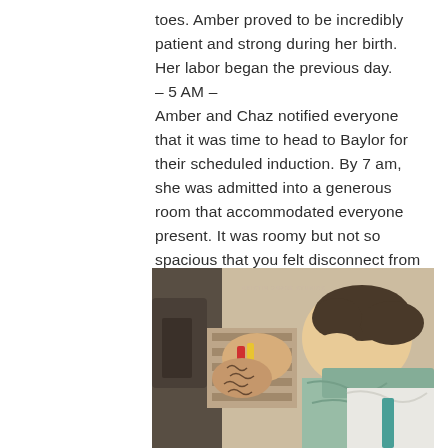toes. Amber proved to be incredibly patient and strong during her birth. Her labor began the previous day.
– 5 AM –
Amber and Chaz notified everyone that it was time to head to Baylor for their scheduled induction. By 7 am, she was admitted into a generous room that accommodated everyone present. It was roomy but not so spacious that you felt disconnect from what was happening.
[Figure (photo): A close-up photograph of a newborn baby with dark hair resting on a person, with a tattooed arm visible and a hospital wristband. The scene suggests a hospital birth setting with soft teal/green fabric.]